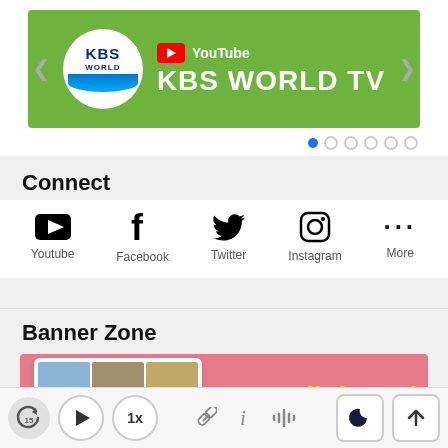[Figure (screenshot): KBS World YouTube banner on green background with KBS World logo circle and YouTube KBS WORLD TV text]
Connect
[Figure (infographic): Social media icons row: Youtube, Facebook, Twitter, Instagram, More]
Banner Zone
[Figure (screenshot): Flipboard banner on pink/salmon background showing a device mockup with images and Flipboard text in yellow]
[Figure (infographic): Bottom media player bar with back-15, play, 1x buttons, link/info/audio icons, and dark mode / scroll-to-top buttons]